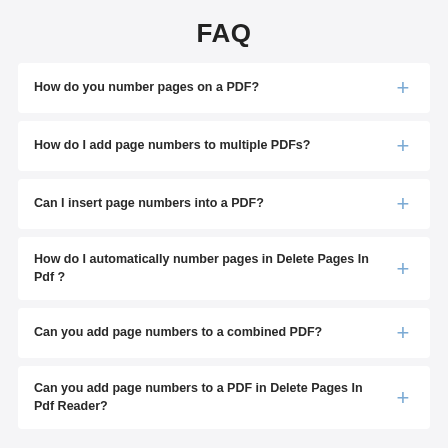FAQ
How do you number pages on a PDF?
How do I add page numbers to multiple PDFs?
Can I insert page numbers into a PDF?
How do I automatically number pages in Delete Pages In Pdf ?
Can you add page numbers to a combined PDF?
Can you add page numbers to a PDF in Delete Pages In Pdf Reader?